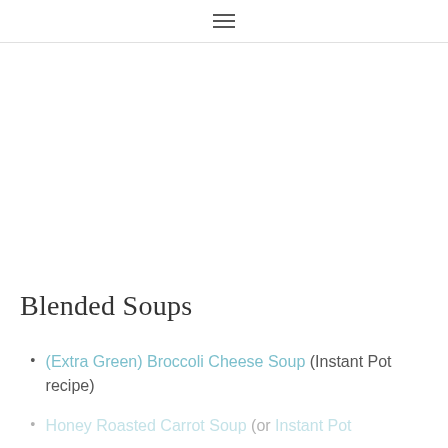≡
Blended Soups
(Extra Green) Broccoli Cheese Soup (Instant Pot recipe)
Honey Roasted Carrot Soup (or Instant Pot